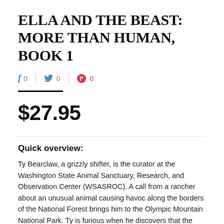ELLA AND THE BEAST: MORE THAN HUMAN, BOOK 1
f 0 | 🐦 0 | ⊕ 0
$27.95
Quick overview:
Ty Bearclaw, a grizzly shifter, is the curator at the Washington State Animal Sanctuary, Research, and Observation Center (WSASROC). A call from a rancher about an unusual animal causing havoc along the borders of the National Forest brings him to the Olympic Mountain National Park. Ty is furious when he discovers that the rancher has placed a trap to capture the creature